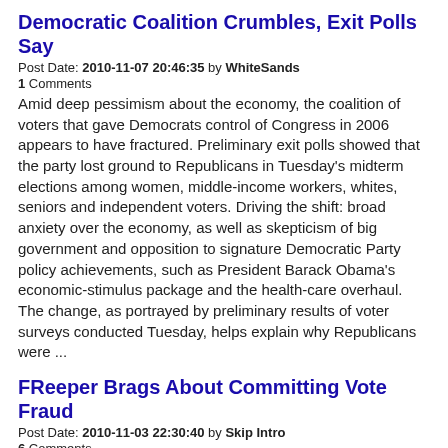Democratic Coalition Crumbles, Exit Polls Say
Post Date: 2010-11-07 20:46:35 by WhiteSands
1 Comments
Amid deep pessimism about the economy, the coalition of voters that gave Democrats control of Congress in 2006 appears to have fractured. Preliminary exit polls showed that the party lost ground to Republicans in Tuesday's midterm elections among women, middle-income workers, whites, seniors and independent voters. Driving the shift: broad anxiety over the economy, as well as skepticism of big government and opposition to signature Democratic Party policy achievements, such as President Barack Obama's economic-stimulus package and the health-care overhaul. The change, as portrayed by preliminary results of voter surveys conducted Tuesday, helps explain why Republicans were ...
FReeper Brags About Committing Vote Fraud
Post Date: 2010-11-03 22:30:40 by Skip Intro
6 Comments
http://www.freerepublic.com/focus/f-news/2619795/posts I wiped out THREE RAT votes today! YES! (Major registration SNAFU!) Posted on Tuesday, November 02, 2010 2:45:19 PM by Libloather So I show up at my local polling place. To my surprise, the very nice seasoned citizen poll worker noticed I was registered three times. My obvious reply was, “Really.” Without